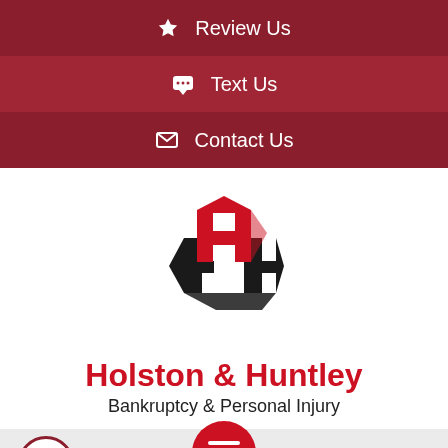★ Review Us
💬 Text Us
✉ Contact Us
[Figure (logo): Holston & Huntley logo — geometric hexagonal HH mark in red and black]
Holston & Huntley
Bankruptcy & Personal Injury
404-▪▪▪-3337